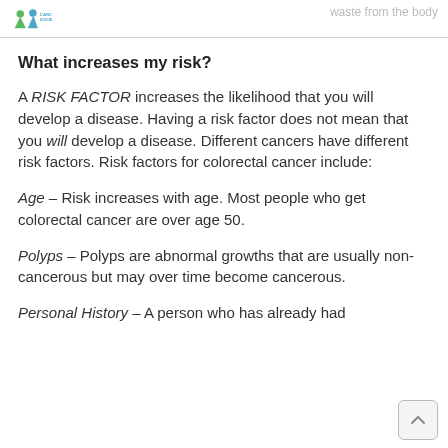Cancer Society | waste from the body
What increases my risk?
A RISK FACTOR increases the likelihood that you will develop a disease. Having a risk factor does not mean that you will develop a disease. Different cancers have different risk factors. Risk factors for colorectal cancer include:
Age – Risk increases with age. Most people who get colorectal cancer are over age 50.
Polyps – Polyps are abnormal growths that are usually non-cancerous but may over time become cancerous.
Personal History – A person who has already had